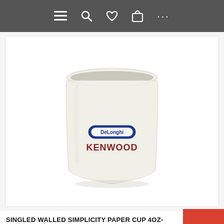Navigation bar with menu, search, wishlist, cart, and more icons
[Figure (photo): A white single-walled paper cup with DeLonghi logo (blue oval badge) and KENWOOD text in dark red below it, photographed on a white background.]
SINGLED WALLED SIMPLICITY PAPER CUP 4OZ-115ML